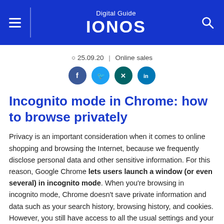Digital Guide IONOS
25.09.20  |  Online sales
[Figure (illustration): Social sharing icons: Facebook, Twitter, Xing, LinkedIn]
Incognito mode in Chrome: how to browse privately
Privacy is an important consideration when it comes to online shopping and browsing the Internet, because we frequently disclose personal data and other sensitive information. For this reason, Google Chrome lets users launch a window (or even several) in incognito mode. When you're browsing in incognito mode, Chrome doesn't save private information and data such as your search history, browsing history, and cookies. However, you still have access to all the usual settings and your